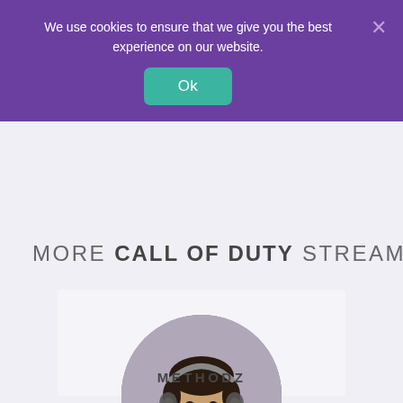We use cookies to ensure that we give you the best experience on our website.
Ok
MORE CALL OF DUTY STREAMERS
[Figure (photo): Circular profile photo of a young man wearing headphones, smiling, in a gaming/streaming setup.]
METHODZ